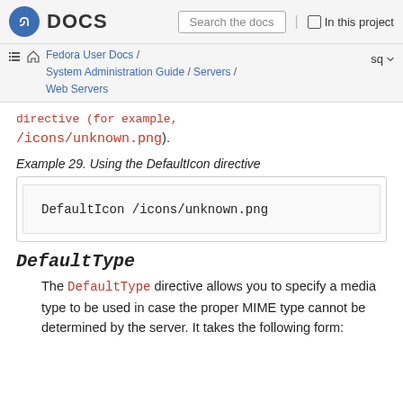DOCS | Search the docs | In this project
Fedora User Docs / System Administration Guide / Servers / Web Servers | sq
...directive (for example, /icons/unknown.png).
Example 29. Using the DefaultIcon directive
| DefaultIcon /icons/unknown.png |
DefaultType
The DefaultType directive allows you to specify a media type to be used in case the proper MIME type cannot be determined by the server. It takes the following form: